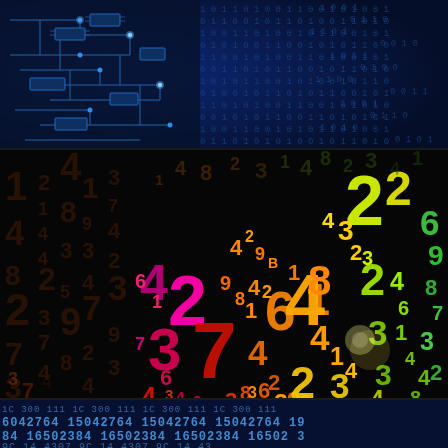[Figure (illustration): Top panel: dark blue circuit board with glowing blue circuit traces on left half, binary digits (0s and 1s) scattered on right half against dark blue background]
[Figure (illustration): Middle panel: colorful 3D floating numbers (2,3,4,7,8,9,1,6 etc.) in magenta, red, orange, yellow, green colors against dark background, creating a dynamic number explosion effect]
[Figure (illustration): Bottom panel: dark blue background with repeating sequences of numbers: '1C 300 111 1C500 111 1C300 111 1C500 111', '6042764 15042764 15042764 15042764 1', '84 16502384 16502384 16502384 16502384 3', then partial fourth row]